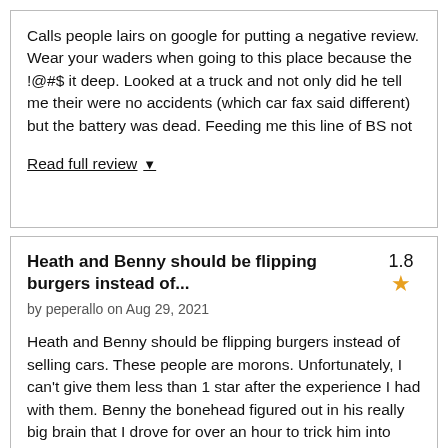Calls people lairs on google for putting a negative review. Wear your waders when going to this place because the !@#$ it deep. Looked at a truck and not only did he tell me their were no accidents (which car fax said different) but the battery was dead. Feeding me this line of BS not
Read full review ▼
Heath and Benny should be flipping burgers instead of...
1.8 ★
by peperallo on Aug 29, 2021
Heath and Benny should be flipping burgers instead of selling cars. These people are morons. Unfortunately, I can't give them less than 1 star after the experience I had with them. Benny the bonehead figured out in his really big brain that I drove for over an hour to trick him into